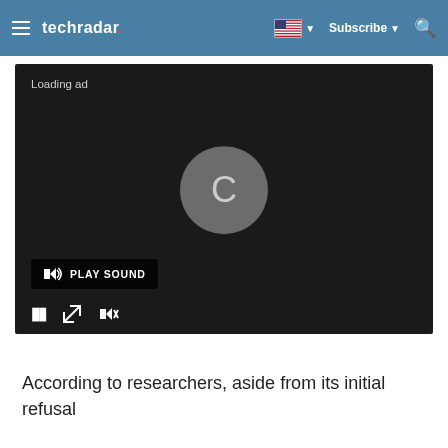techradar | Subscribe
[Figure (screenshot): Video player with dark background showing 'Loading ad' text, a 'PLAY SOUND' button, a spinning loading circle in the center, and media controls (pause, expand, mute) at the bottom]
According to researchers, aside from its initial refusal